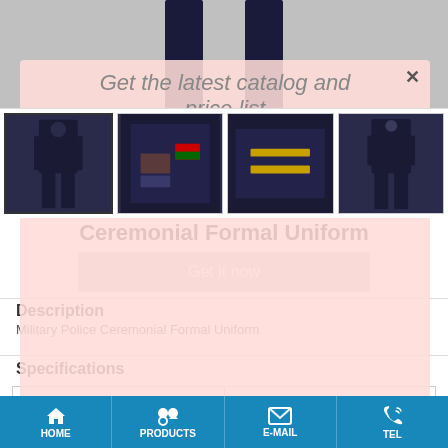[Figure (photo): Dark navy military uniform (jacket and trousers) hanging/displayed against light grey background, top portion of page]
[Figure (photo): Four thumbnail images of military ceremonial uniform: full set, close-up of jacket front with patches, close-up of sleeve with gold chevrons, and full uniform on hanger]
Ceremonial Formal Uniform
Get it now
Description
Military Police Ceremonial Formal Uniform
Specifications
| Material | woolen Fabric or T/R |
| --- | --- |
HOME   PRODUCTS   E-MAIL   TEL